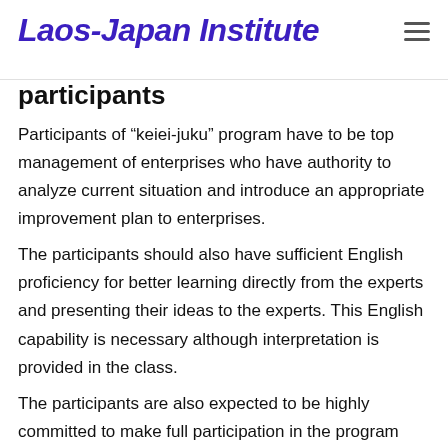Laos-Japan Institute
participants
Participants of “keiei-juku” program have to be top management of enterprises who have authority to analyze current situation and introduce an appropriate improvement plan to enterprises.
The participants should also have sufficient English proficiency for better learning directly from the experts and presenting their ideas to the experts. This English capability is necessary although interpretation is provided in the class.
The participants are also expected to be highly committed to make full participation in the program and make reasonable situation analysis and...